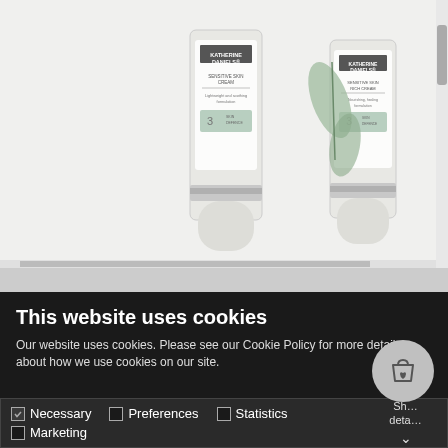[Figure (photo): Two white tubes of Katherine Daniels Sensitive Skin Cream and Sensitive Skin Rich Cream with green eucalyptus leaves in the background on a light gray/white surface.]
This website uses cookies
Our website uses cookies. Please see our Cookie Policy for more details about how we use cookies on our site.
Necessary  Preferences  Statistics  Marketing  Show details
[Figure (screenshot): Cart/wishlist icon circle button on the bottom right]